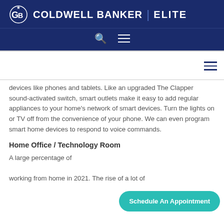COLDWELL BANKER | ELITE
devices like phones and tablets. Like an upgraded The Clapper sound-activated switch, smart outlets make it easy to add regular appliances to your home's network of smart devices. Turn the lights on or TV off from the convenience of your phone. We can even program smart home devices to respond to voice commands.
Home Office / Technology Room
A large percentage of working from home in 2021. The rise of a lot of
Schedule An Appointment